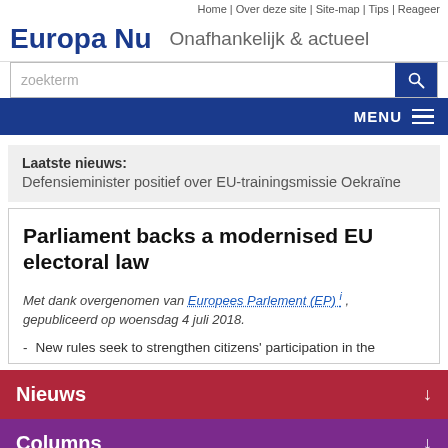Home | Over deze site | Site-map | Tips | Reageer
Europa Nu  Onafhankelijk & actueel
zoekterm
MENU
Laatste nieuws: Defensieminister positief over EU-trainingsmissie Oekraïne
Parliament backs a modernised EU electoral law
Met dank overgenomen van Europees Parlement (EP) i , gepubliceerd op woensdag 4 juli 2018.
New rules seek to strengthen citizens' participation in the
Nieuws
Columns